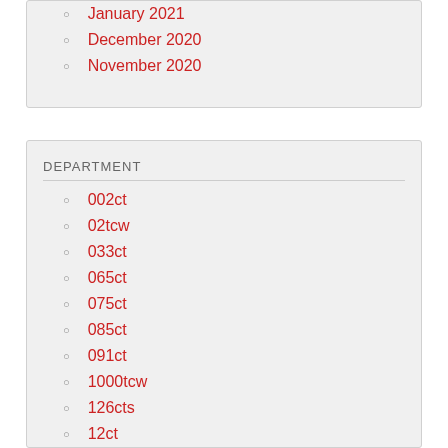January 2021
December 2020
November 2020
DEPARTMENT
002ct
02tcw
033ct
065ct
075ct
085ct
091ct
1000tcw
126cts
12ct